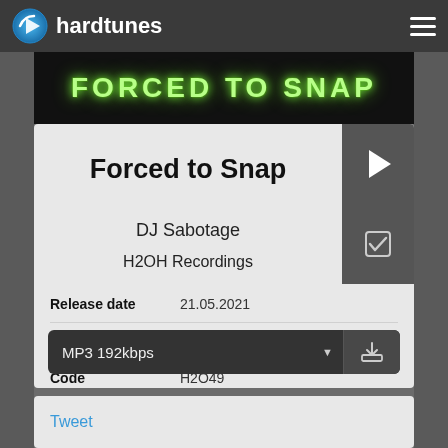hardtunes
[Figure (illustration): Banner image with text 'FORCED TO SNAP' in glowing green letters on black background]
Forced to Snap
DJ Sabotage
H2OH Recordings
Release date	21.05.2021
Style	Hardcore
Code	H2O49
Length	17:29 (3 Tunes)
MP3 192kbps
Tweet